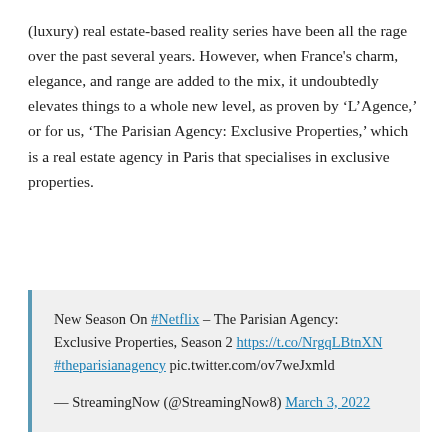(luxury) real estate-based reality series have been all the rage over the past several years. However, when France's charm, elegance, and range are added to the mix, it undoubtedly elevates things to a whole new level, as proven by 'L'Agence,' or for us, 'The Parisian Agency: Exclusive Properties,' which is a real estate agency in Paris that specialises in exclusive properties.
New Season On #Netflix – The Parisian Agency: Exclusive Properties, Season 2 https://t.co/NrgqLBtnXN #theparisianagency pic.twitter.com/ov7weJxmld
— StreamingNow (@StreamingNow8) March 3, 2022